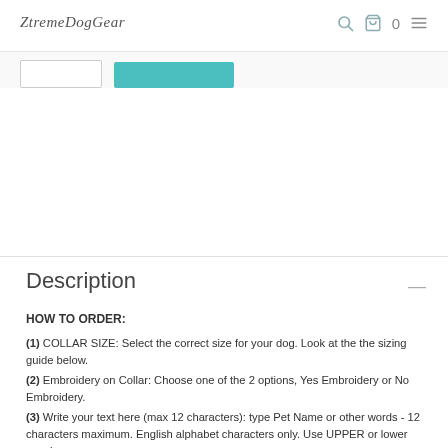ZtremeDogGear — navigation header with search, cart (0), and menu icons
[Figure (screenshot): Tab bar with an inactive tab and an active teal/turquoise tab]
Description
HOW TO ORDER:
(1) COLLAR SIZE: Select the correct size for your dog. Look at the the sizing guide below.
(2) Embroidery on Collar: Choose one of the 2 options, Yes Embroidery or No Embroidery.
(3) Write your text here (max 12 characters): type Pet Name or other words - 12 characters maximum. English alphabet characters only. Use UPPER or lower case!